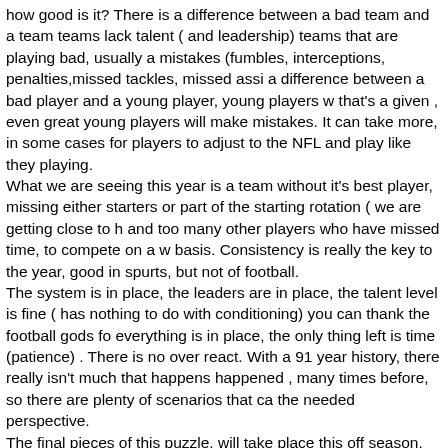how good is it? There is a difference between a bad team and a team that teams lack talent ( and leadership) teams that are playing bad, usually a mistakes (fumbles, interceptions, penalties,missed tackles, missed assi a difference between a bad player and a young player, young players w that's a given , even great young players will make mistakes. It can take more, in some cases for players to adjust to the NFL and play like they playing. What we are seeing this year is a team without it's best player, missing either starters or part of the starting rotation ( we are getting close to h and too many other players who have missed time, to compete on a w basis. Consistency is really the key to the year, good in spurts, but not of football. The system is in place, the leaders are in place, the talent level is fine ( has nothing to do with conditioning) you can thank the football gods fo everything is in place, the only thing left is time (patience) . There is no over react. With a 91 year history, there really isn't much that happens happened , many times before, so there are plenty of scenarios that ca the needed perspective. The final pieces of this puzzle, will take place this off season, when ma to be made, who stays, who goes. It's still early, but the signs are poin 100% next year and if he returns ( and he better be ) I feel very strongly overall, is not a good way to win championships, it is a great way to w championships. My hope is that we have that pick, trade it away and r a very good team already.